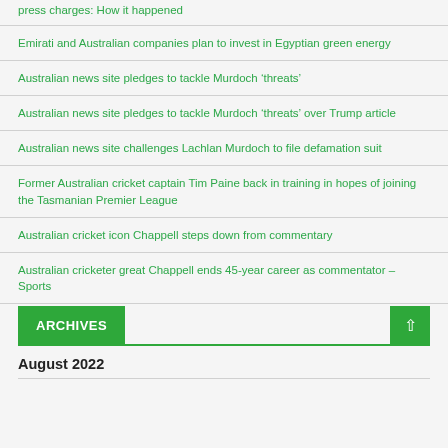press charges: How it happened
Emirati and Australian companies plan to invest in Egyptian green energy
Australian news site pledges to tackle Murdoch ‘threats’
Australian news site pledges to tackle Murdoch ‘threats’ over Trump article
Australian news site challenges Lachlan Murdoch to file defamation suit
Former Australian cricket captain Tim Paine back in training in hopes of joining the Tasmanian Premier League
Australian cricket icon Chappell steps down from commentary
Australian cricketer great Chappell ends 45-year career as commentator – Sports
ARCHIVES
August 2022